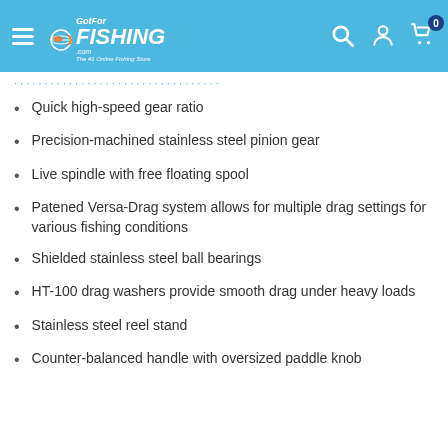GotForFishing.com — The #1 Online Fishing Store
Quick high-speed gear ratio
Precision-machined stainless steel pinion gear
Live spindle with free floating spool
Patened Versa-Drag system allows for multiple drag settings for various fishing conditions
Shielded stainless steel ball bearings
HT-100 drag washers provide smooth drag under heavy loads
Stainless steel reel stand
Counter-balanced handle with oversized paddle knob